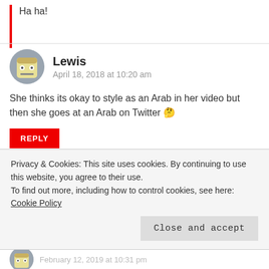Ha ha!
Lewis
April 18, 2018 at 10:20 am
She thinks its okay to style as an Arab in her video but then she goes at an Arab on Twitter 🤔
REPLY
What Went Wrong Or Right With...?
April 18, 2018 at 11:08 am
Privacy & Cookies: This site uses cookies. By continuing to use this website, you agree to their use.
To find out more, including how to control cookies, see here: Cookie Policy
Close and accept
February 12, 2019 at 10:31 pm